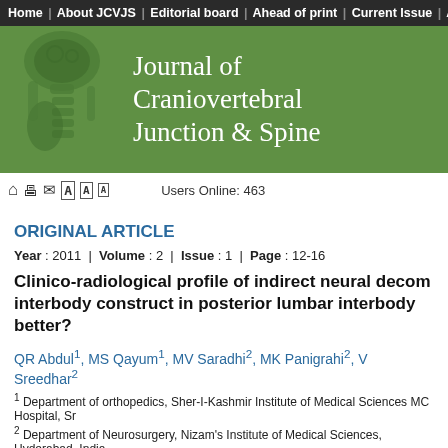Home | About JCVJS | Editorial board | Ahead of print | Current Issue | A
[Figure (illustration): Journal of Craniovertebral Junction & Spine banner with green background and spine illustration]
Users Online: 463
ORIGINAL ARTICLE
Year : 2011 | Volume : 2 | Issue : 1 | Page : 12-16
Clinico-radiological profile of indirect neural decom interbody construct in posterior lumbar interbody better?
QR Abdul1, MS Qayum1, MV Saradhi2, MK Panigrahi2, V Sreedhar2
1 Department of orthopedics, Sher-I-Kashmir Institute of Medical Sciences MC Hospital, Sr
2 Department of Neurosurgery, Nizam's Institute of Medical Sciences, Hyderabad, India